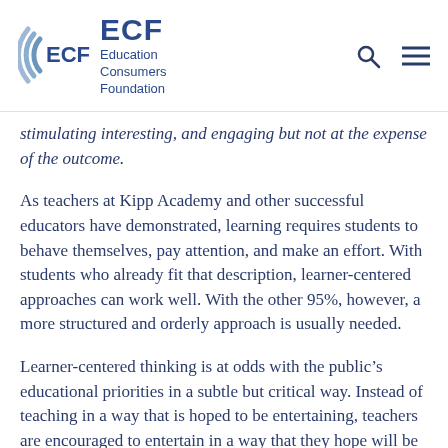ECF Education Consumers Foundation
stimulating interesting, and engaging but not at the expense of the outcome.
As teachers at Kipp Academy and other successful educators have demonstrated, learning requires students to behave themselves, pay attention, and make an effort. With students who already fit that description, learner-centered approaches can work well. With the other 95%, however, a more structured and orderly approach is usually needed.
Learner-centered thinking is at odds with the public’s educational priorities in a subtle but critical way. Instead of teaching in a way that is hoped to be entertaining, teachers are encouraged to entertain in a way that they hope will be educational. Learner-